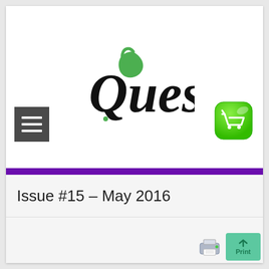[Figure (logo): Quest magazine logo with stylized Q in green and black script lettering]
[Figure (other): Hamburger menu icon (three white horizontal lines on dark grey background)]
[Figure (other): Green shopping cart button icon]
Issue #15 – May 2016
[Figure (other): Printer icon for print function]
[Figure (other): Green scroll-to-top button with upward arrow and Print label]